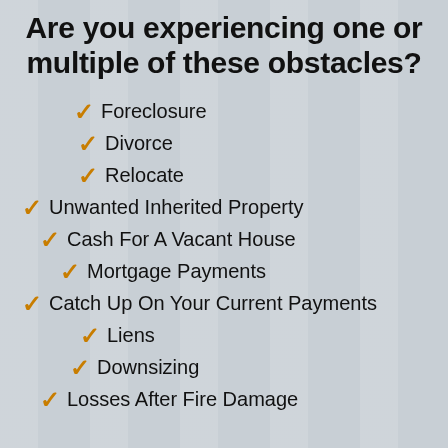Are you experiencing one or multiple of these obstacles?
Foreclosure
Divorce
Relocate
Unwanted Inherited Property
Cash For A Vacant House
Mortgage Payments
Catch Up On Your Current Payments
Liens
Downsizing
Losses After Fire Damage